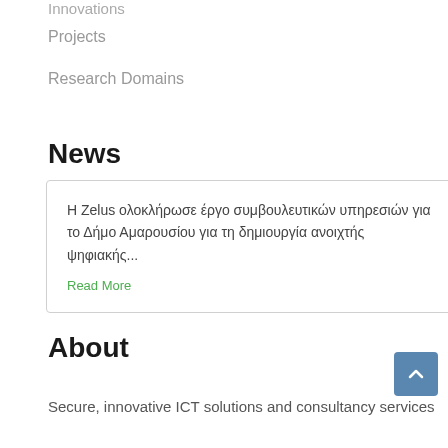Innovations
Projects
Research Domains
News
Η Zelus ολοκλήρωσε έργο συμβουλευτικών υπηρεσιών για το Δήμο Αμαρουσίου για τη δημιουργία ανοιχτής ψηφιακής...
Read More
About
Secure, innovative ICT solutions and consultancy services